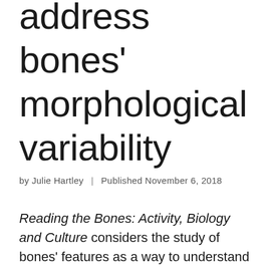address bones' morphological variability
by Julie Hartley | Published November 6, 2018
Reading the Bones: Activity, Biology and Culture considers the study of bones' features as a way to understand